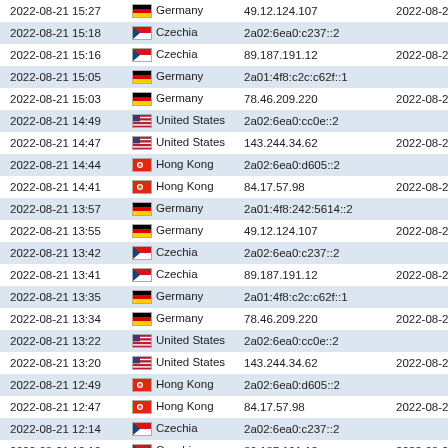| Date/Time | Country | IP | Last Seen |
| --- | --- | --- | --- |
| 2022-08-21 15:27 | Germany | 49.12.124.107 | 2022-08-20 17:43 |
| 2022-08-21 15:18 | Czechia | 2a02:6ea0:c237::2 |  |
| 2022-08-21 15:16 | Czechia | 89.187.191.12 | 2022-08-20 17:43 |
| 2022-08-21 15:05 | Germany | 2a01:4f8:c2c:c62f::1 |  |
| 2022-08-21 15:03 | Germany | 78.46.209.220 | 2022-08-20 17:43 |
| 2022-08-21 14:49 | United States | 2a02:6ea0:cc0e::2 |  |
| 2022-08-21 14:47 | United States | 143.244.34.62 | 2022-08-20 17:43 |
| 2022-08-21 14:44 | Hong Kong | 2a02:6ea0:d605::2 |  |
| 2022-08-21 14:41 | Hong Kong | 84.17.57.98 | 2022-08-20 17:43 |
| 2022-08-21 13:57 | Germany | 2a01:4f8:242:5614::2 |  |
| 2022-08-21 13:55 | Germany | 49.12.124.107 | 2022-08-20 17:43 |
| 2022-08-21 13:42 | Czechia | 2a02:6ea0:c237::2 |  |
| 2022-08-21 13:41 | Czechia | 89.187.191.12 | 2022-08-20 17:43 |
| 2022-08-21 13:35 | Germany | 2a01:4f8:c2c:c62f::1 |  |
| 2022-08-21 13:34 | Germany | 78.46.209.220 | 2022-08-20 17:43 |
| 2022-08-21 13:22 | United States | 2a02:6ea0:cc0e::2 |  |
| 2022-08-21 13:20 | United States | 143.244.34.62 | 2022-08-20 17:43 |
| 2022-08-21 12:49 | Hong Kong | 2a02:6ea0:d605::2 |  |
| 2022-08-21 12:47 | Hong Kong | 84.17.57.98 | 2022-08-20 17:43 |
| 2022-08-21 12:14 | Czechia | 2a02:6ea0:c237::2 |  |
| 2022-08-21 12:12 | Czechia | 89.187.191.12 | 2022-08-20 17:43 |